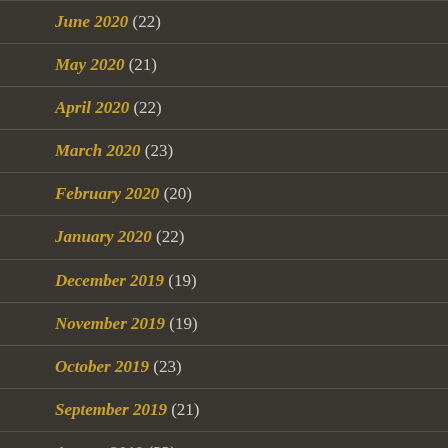June 2020 (22)
May 2020 (21)
April 2020 (22)
March 2020 (23)
February 2020 (20)
January 2020 (22)
December 2019 (19)
November 2019 (19)
October 2019 (23)
September 2019 (21)
August 2019 (22)